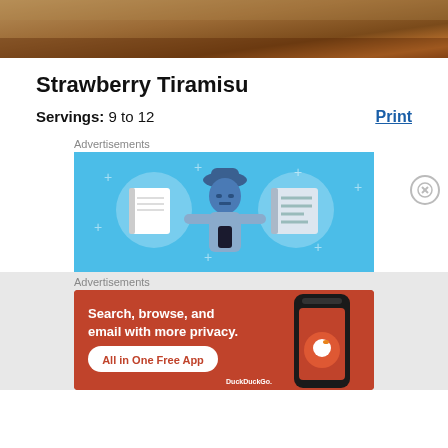[Figure (photo): Top portion of a food photo showing a warm brown/wooden textured surface, partially cropped]
Strawberry Tiramisu
Servings: 9 to 12
Print
Advertisements
[Figure (illustration): Advertisement banner with blue background showing a cartoon person holding a phone with notebook icons on either side]
Advertisements
[Figure (illustration): DuckDuckGo advertisement with orange/red background. Text: Search, browse, and email with more privacy. All in One Free App. Shows DuckDuckGo logo and phone mockup.]